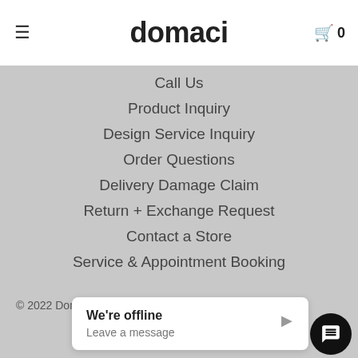domaci
Call Us
Product Inquiry
Design Service Inquiry
Order Questions
Delivery Damage Claim
Return + Exchange Request
Contact a Store
Service & Appointment Booking
© 2022 Domaci y.
We're offline
Leave a message